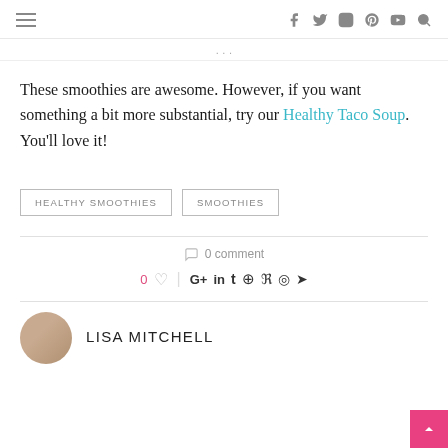hamburger menu | social icons: facebook, twitter, instagram, pinterest, youtube, search
These smoothies are awesome. However, if you want something a bit more substantial, try our Healthy Taco Soup. You'll love it!
HEALTHY SMOOTHIES
SMOOTHIES
0 comment
0 ♡ | G+ in t @ su © ➤
LISA MITCHELL